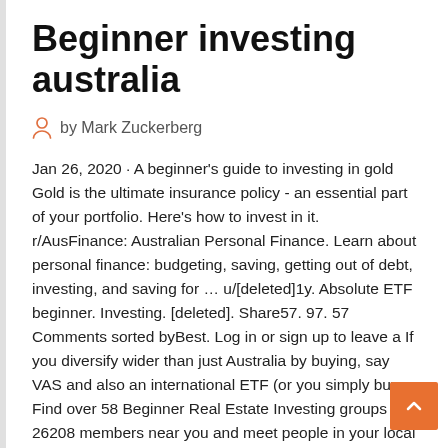Beginner investing australia
by Mark Zuckerberg
Jan 26, 2020 · A beginner's guide to investing in gold Gold is the ultimate insurance policy - an essential part of your portfolio. Here's how to invest in it. r/AusFinance: Australian Personal Finance. Learn about personal finance: budgeting, saving, getting out of debt, investing, and saving for … u/[deleted]1y. Absolute ETF beginner. Investing. [deleted]. Share57. 97. 57 Comments sorted byBest. Log in or sign up to leave a If you diversify wider than just Australia by buying, say VAS and also an international ETF (or you simply buy a  Find over 58 Beginner Real Estate Investing groups with 26208 members near you and meet people in your local community who share your interests. Investing is a way of saving for the long-term; letting your